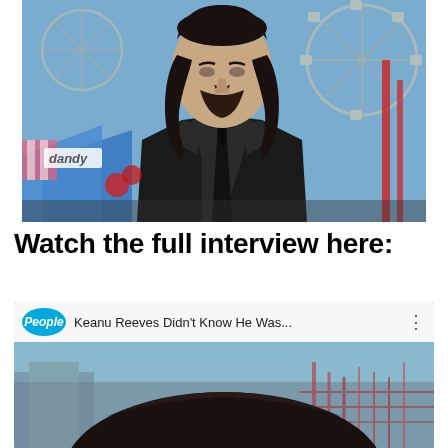[Figure (photo): Man with long dark hair, beard, wearing a black suit and tie, standing at an outdoor event with a ferris wheel and carnival/fair tents in the background. A blue tent with the word 'dandy' is partially visible.]
Watch the full interview here:
[Figure (screenshot): YouTube video thumbnail from People magazine showing Keanu Reeves. The video title reads 'Keanu Reeves Didn't Know He Was...' with a three-dot menu icon. The People magazine logo (blue circle with 'People' in white italic text) appears on the left. The thumbnail shows a close-up of the top of a person's head with dark hair, with a fair/carnival scene in the background.]